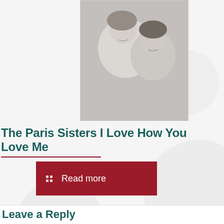[Figure (photo): Black and white photograph of two smiling women, likely the Paris Sisters]
The Paris Sisters I Love How You Love Me
Read more
Leave a Reply
Your email address will not be published. Required fields are marked *
Comment *